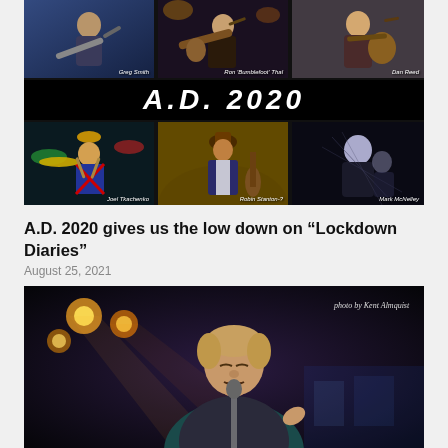[Figure (photo): Band photo collage for A.D. 2020 with six musician photos arranged in two rows of three, with the band name 'A.D. 2020' displayed in large text in the center. Top row: Greg Smith, Ron 'Bumblefoot' Thal, Dan Reed. Bottom row: Joel Tkachenko, Robin Stanton-?, Mark McNelley.]
A.D. 2020 gives us the low down on “Lockdown Diaries”
August 25, 2021
[Figure (photo): Photo of a male musician performing on stage, singing into a microphone with eyes closed, with stage lighting in the background. Photo credit: photo by Kent Almquist]